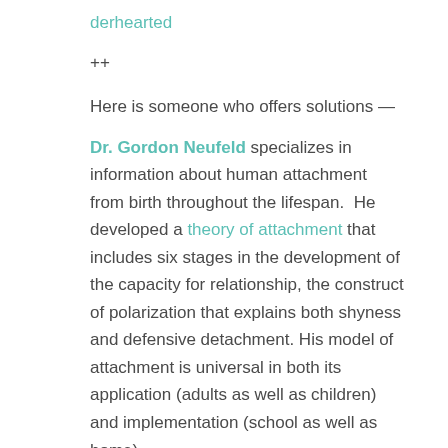derhearted
++
Here is someone who offers solutions —
Dr. Gordon Neufeld specializes in information about human attachment from birth throughout the lifespan. He developed a theory of attachment that includes six stages in the development of the capacity for relationship, the construct of polarization that explains both shyness and defensive detachment. His model of attachment is universal in both its application (adults as well as children) and implementation (school as well as home).
"Dr. Neufeld's theory is the greatest theory of